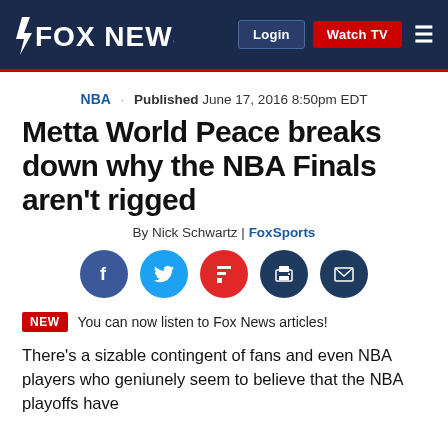FOX NEWS | Login | Watch TV
NBA · Published June 17, 2016 8:50pm EDT
Metta World Peace breaks down why the NBA Finals aren't rigged
By Nick Schwartz | FoxSports
[Figure (other): Social share icons: Facebook, Twitter, Flipboard, Print, Email]
NEW  You can now listen to Fox News articles!
There's a sizable contingent of fans and even NBA players who geniunely seem to believe that the NBA playoffs have